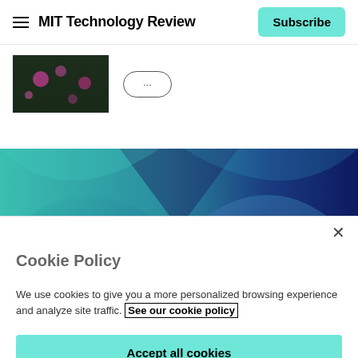MIT Technology Review — Subscribe
[Figure (screenshot): Partially visible thumbnail image of a dark scene with pink/magenta floral elements, and a partially visible pill-shaped button to its right]
[Figure (illustration): Abstract gradient banner image with teal, blue, and purple flowing shapes on dark background]
Cookie Policy
We use cookies to give you a more personalized browsing experience and analyze site traffic. See our cookie policy
Accept all cookies
Cookies settings